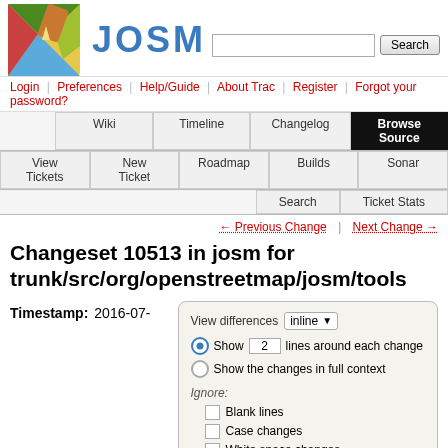[Figure (logo): JOSM logo: colorful map with pencil, and JOSM text in blue]
Login | Preferences | Help/Guide | About Trac | Register | Forgot your password?
Wiki | Timeline | Changelog | Browse Source | View Tickets | New Ticket | Roadmap | Builds | Sonar | Search | Ticket Stats
← Previous Change | Next Change →
Changeset 10513 in josm for trunk/src/org/openstreetmap/josm/tools
Timestamp: 2016-07-
[Figure (screenshot): View differences panel: inline dropdown, Show 2 lines around each change radio, Show the changes in full context radio, Ignore: Blank lines, Case changes, White space changes checkboxes, Update button]
03T22:16:57+02:00 (6 years ago)